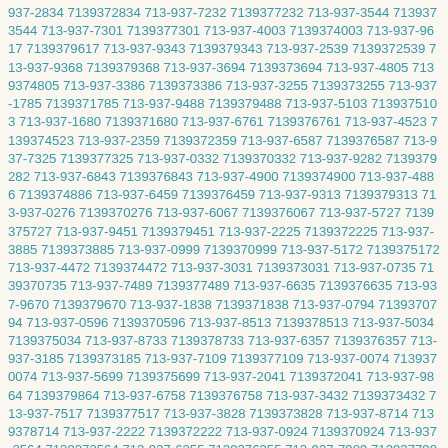937-2834 7139372834 713-937-7232 7139377232 713-937-3544 7139373544 713-937-7301 7139377301 713-937-4003 7139374003 713-937-9617 7139379617 713-937-9343 7139379343 713-937-2539 7139372539 713-937-9368 7139379368 713-937-3694 7139373694 713-937-4805 7139374805 713-937-3386 7139373386 713-937-3255 7139373255 713-937-1785 7139371785 713-937-9488 7139379488 713-937-5103 7139375103 713-937-1680 7139371680 713-937-6761 7139376761 713-937-4523 7139374523 713-937-2359 7139372359 713-937-6587 7139376587 713-937-7325 7139377325 713-937-0332 7139370332 713-937-9282 7139379282 713-937-6843 7139376843 713-937-4900 7139374900 713-937-4886 7139374886 713-937-6459 7139376459 713-937-9313 7139379313 713-937-0276 7139370276 713-937-6067 7139376067 713-937-5727 7139375727 713-937-9451 7139379451 713-937-2225 7139372225 713-937-3885 7139373885 713-937-0999 7139370999 713-937-5172 7139375172 713-937-4472 7139374472 713-937-3031 7139373031 713-937-0735 7139370735 713-937-7489 7139377489 713-937-6635 7139376635 713-937-9670 7139379670 713-937-1838 7139371838 713-937-0794 7139370794 713-937-0596 7139370596 713-937-8513 7139378513 713-937-5034 7139375034 713-937-8733 7139378733 713-937-6357 7139376357 713-937-3185 7139373185 713-937-7109 7139377109 713-937-0074 7139370074 713-937-5699 7139375699 713-937-2041 7139372041 713-937-9864 7139379864 713-937-6758 7139376758 713-937-3432 7139373432 713-937-7517 7139377517 713-937-3828 7139373828 713-937-8714 7139378714 713-937-2222 7139372222 713-937-0924 7139370924 713-937-2564 7139372564 713-937-6355 7139376355 713-937-7909 7139377909 713-937-7787 7139377787 713-937-6953